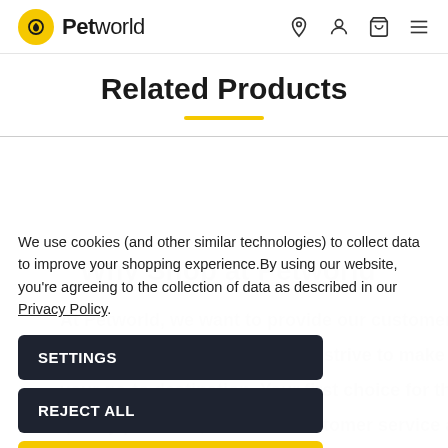Petworld
Related Products
We use cookies (and other similar technologies) to collect data to improve your shopping experience.By using our website, you're agreeing to the collection of data as described in our Privacy Policy.
SETTINGS
REJECT ALL
ACCEPT ALL COOKIES